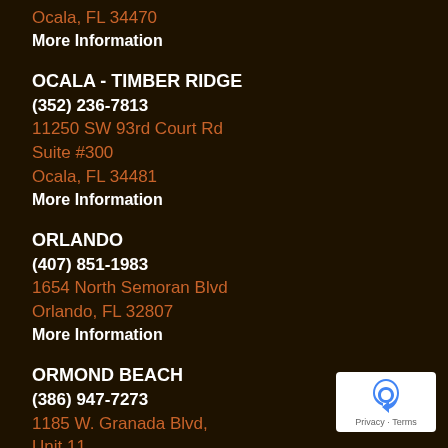Ocala, FL 34470
More Information
OCALA - TIMBER RIDGE
(352) 236-7813
11250 SW 93rd Court Rd
Suite #300
Ocala, FL 34481
More Information
ORLANDO
(407) 851-1983
1654 North Semoran Blvd
Orlando, FL 32807
More Information
ORMOND BEACH
(386) 947-7273
1185 W. Granada Blvd, Unit 11